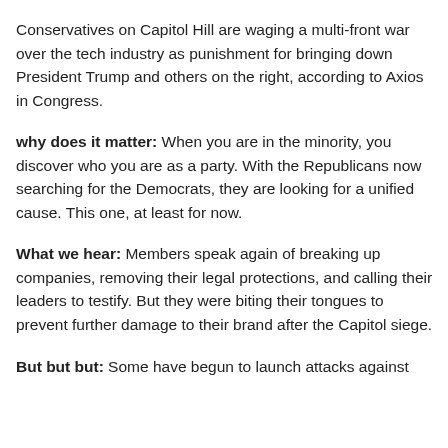Conservatives on Capitol Hill are waging a multi-front war over the tech industry as punishment for bringing down President Trump and others on the right, according to Axios in Congress.
why does it matter: When you are in the minority, you discover who you are as a party. With the Republicans now searching for the Democrats, they are looking for a unified cause. This one, at least for now.
What we hear: Members speak again of breaking up companies, removing their legal protections, and calling their leaders to testify. But they were biting their tongues to prevent further damage to their brand after the Capitol siege.
But but but: Some have begun to launch attacks against